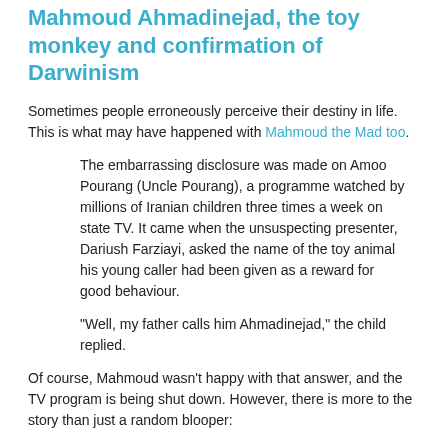Mahmoud Ahmadinejad, the toy monkey and confirmation of Darwinism
Sometimes people erroneously perceive their destiny in life. This is what may have happened with Mahmoud the Mad too.
The embarrassing disclosure was made on Amoo Pourang (Uncle Pourang), a programme watched by millions of Iranian children three times a week on state TV. It came when the unsuspecting presenter, Dariush Farziayi, asked the name of the toy animal his young caller had been given as a reward for good behaviour.
"Well, my father calls him Ahmadinejad," the child replied.
Of course, Mahmoud wasn't happy with that answer, and the TV program is being shut down. However, there is more to the story than just a random blooper: